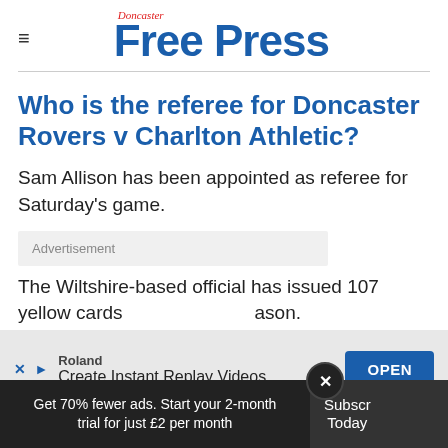Doncaster Free Press
Who is the referee for Doncaster Rovers v Charlton Athletic?
Sam Allison has been appointed as referee for Saturday's game.
Advertisement
The Wiltshire-based official has issued 107 yellow cards this season.
[Figure (screenshot): Roland app advertisement banner: 'Roland - Create Instant Replay Videos' with OPEN button]
Get 70% fewer ads. Start your 2-month trial for just £2 per month  Subscribe Today